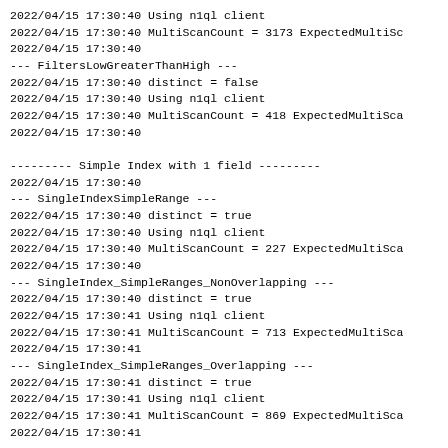2022/04/15 17:30:40 Using n1ql client
2022/04/15 17:30:40 MultiScanCount = 3173 ExpectedMultiSc
2022/04/15 17:30:40
--- FiltersLowGreaterThanHigh ---
2022/04/15 17:30:40 distinct = false
2022/04/15 17:30:40 Using n1ql client
2022/04/15 17:30:40 MultiScanCount = 418 ExpectedMultiSca
2022/04/15 17:30:40

--------- Simple Index with 1 field ---------
2022/04/15 17:30:40
--- SingleIndexSimpleRange ---
2022/04/15 17:30:40 distinct = true
2022/04/15 17:30:40 Using n1ql client
2022/04/15 17:30:40 MultiScanCount = 227 ExpectedMultiSca
2022/04/15 17:30:40
--- SingleIndex_SimpleRanges_NonOverlapping ---
2022/04/15 17:30:40 distinct = true
2022/04/15 17:30:41 Using n1ql client
2022/04/15 17:30:41 MultiScanCount = 713 ExpectedMultiSca
2022/04/15 17:30:41
--- SingleIndex_SimpleRanges_Overlapping ---
2022/04/15 17:30:41 distinct = true
2022/04/15 17:30:41 Using n1ql client
2022/04/15 17:30:41 MultiScanCount = 869 ExpectedMultiSca
2022/04/15 17:30:41

--------- Composite Index with 3 fields ---------
2022/04/15 17:30:41
--- ScanAllNoFilter ---